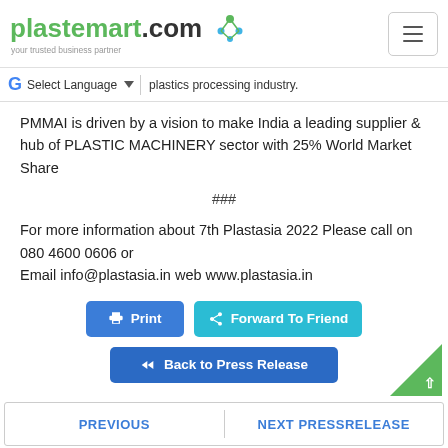plastemart.com - your trusted business partner
plastics processing industry.
PMMAI is driven by a vision to make India a leading supplier & hub of PLASTIC MACHINERY sector with 25% World Market Share
###
For more information about 7th Plastasia 2022 Please call on 080 4600 0606 or
Email info@plastasia.in web www.plastasia.in
Print | Forward To Friend | Back to Press Release
PREVIOUS | NEXT PRESSRELEASE